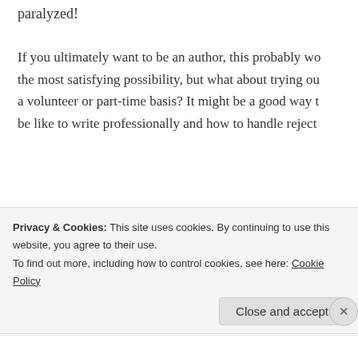paralyzed!
If you ultimately want to be an author, this probably wo the most satisfying possibility, but what about trying ou a volunteer or part-time basis? It might be a good way t be like to write professionally and how to handle reject
Anyway, just a thought! I'm rooting for desire to win o
★ Like
Reply
Amanda says:
Privacy & Cookies: This site uses cookies. By continuing to use this website, you agree to their use.
To find out more, including how to control cookies, see here: Cookie Policy
Close and accept